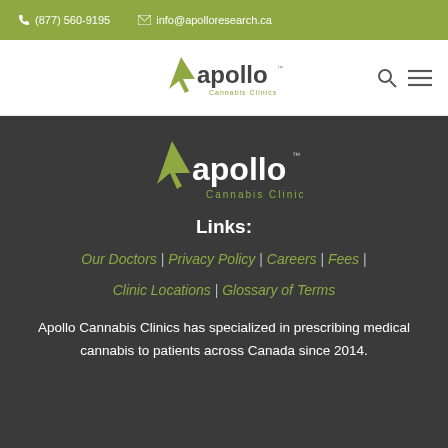(877) 560-9195  info@apolloresearch.ca
[Figure (logo): Apollo Cannabis Clinics logo with olive green arrow/cursor icon and 'apollo Cannabis Clinics' text in nav bar]
[Figure (logo): Apollo Cannabis Clinics logo white version in footer dark background]
Links:
Our Doctors | Privacy Policy | Careers | Fees | Clinic Locations | Glossary of Terms
Apollo Cannabis Clinics has specialized in prescribing medical cannabis to patients across Canada since 2014.